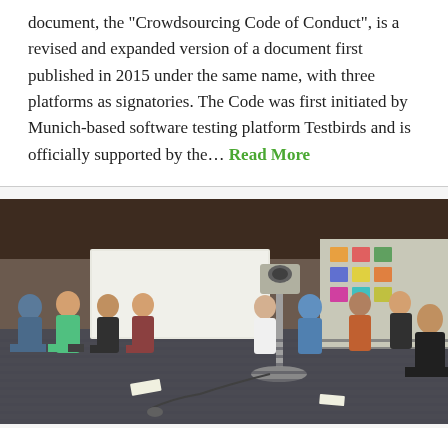document, the "Crowdsourcing Code of Conduct", is a revised and expanded version of a document first published in 2015 under the same name, with three platforms as signatories. The Code was first initiated by Munich-based software testing platform Testbirds and is officially supported by the... Read More
[Figure (photo): A group of people sitting in chairs arranged in a circular or semi-circular pattern in a conference room. A podium/stand is visible in the foreground. A projector and whiteboard are visible in the background. The setting appears to be a workshop or meeting event.]
content.de and IG Metall host joint workshop